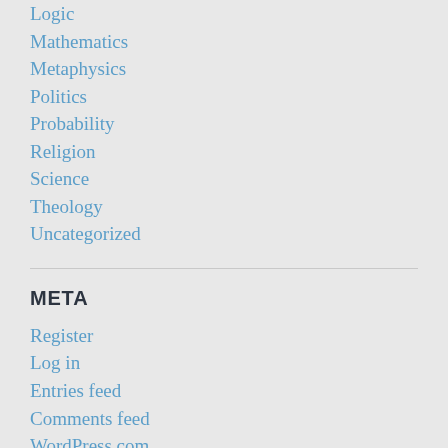Logic
Mathematics
Metaphysics
Politics
Probability
Religion
Science
Theology
Uncategorized
META
Register
Log in
Entries feed
Comments feed
WordPress.com
TAGS